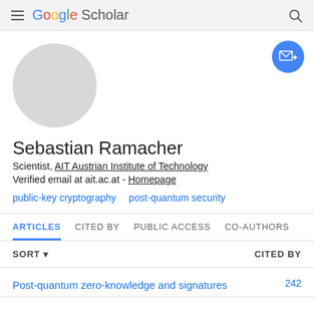Google Scholar
[Figure (illustration): Google Scholar profile page header with hamburger menu icon, Google Scholar logo, and search icon on grey background]
[Figure (photo): Circular grey avatar placeholder image for Sebastian Ramacher]
[Figure (illustration): Blue circular follow/email button with envelope icon and plus sign]
Sebastian Ramacher
Scientist, AIT Austrian Institute of Technology
Verified email at ait.ac.at - Homepage
public-key cryptography
post-quantum security
ARTICLES  CITED BY  PUBLIC ACCESS  CO-AUTHORS
SORT ▾  CITED BY
Post-quantum zero-knowledge and signatures  242